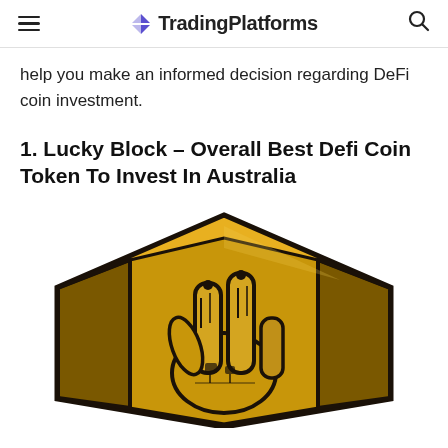TradingPlatforms
help you make an informed decision regarding DeFi coin investment.
1. Lucky Block – Overall Best Defi Coin Token To Invest In Australia
[Figure (logo): Lucky Block logo — a golden hexagonal badge with a robotic hand making a peace/victory sign, rendered in gold and dark tones with circuit-board style detailing]